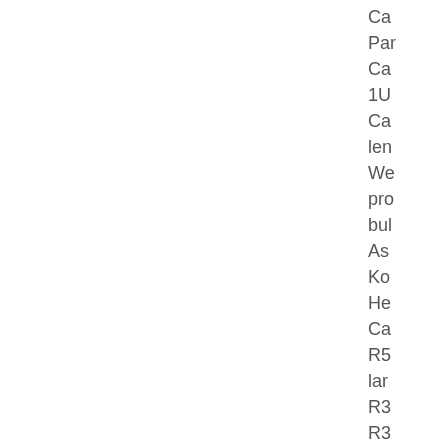Ca
Par
Ca
1U
Ca
len
We
pro
bul
As
Ko
He
Ca
R5
lar
R3
R3
R4
R5